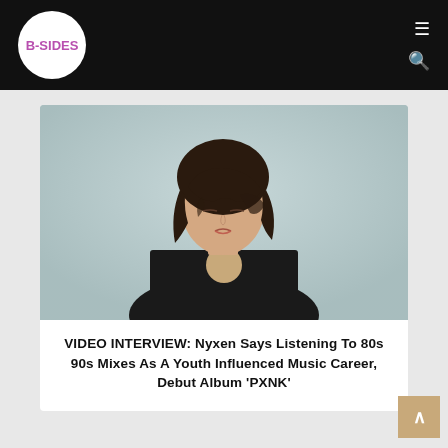B-SIDES
[Figure (photo): Young woman with short dark wavy hair and bangs, looking downward, wearing a black sleeveless top with a cutout detail, photographed against a light grey background.]
VIDEO INTERVIEW: Nyxen Says Listening To 80s 90s Mixes As A Youth Influenced Music Career, Debut Album 'PXNK'